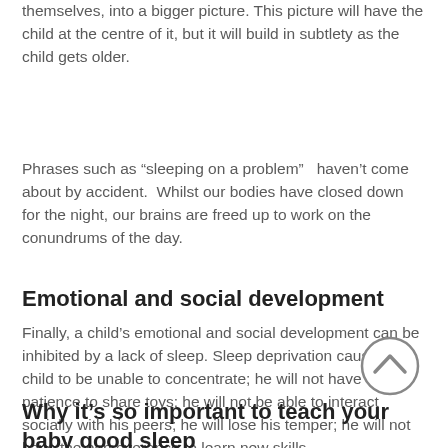themselves, into a bigger picture. This picture will have the child at the centre of it, but it will build in subtlety as the child gets older.
Phrases such as “sleeping on a problem”  haven’t come about by accident.  Whilst our bodies have closed down for the night, our brains are freed up to work on the conundrums of the day.
Emotional and social development
Finally, a child’s emotional and social development can be inhibited by a lack of sleep. Sleep deprivation causes a child to be unable to concentrate; he will not have the patience to share toys; he will not be able to interact socially with his peers; he will lose his temper; he will not have the perseverance to learn new skills.
Why it’s so important to teach your baby good sleep